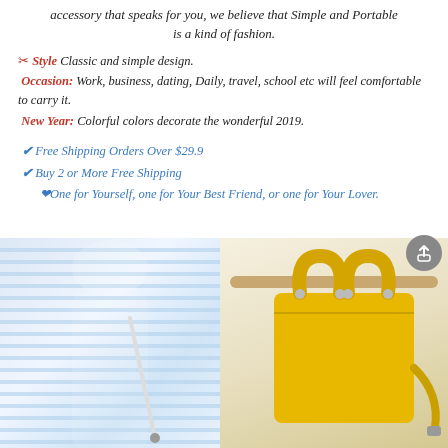accessory that speaks for you, we believe that Simple and Portable is a kind of fashion.
✂ Style Classic and simple design.
Occasion: Work, business, dating, Daily, travel, school etc will feel comfortable to carry it.
New Year: Colorful colors decorate the wonderful 2019.
✔ Free Shipping Orders Over $29.9
✔ Buy 2 or More Free Shipping
❤One for Yourself, one for Your Best Friend, or one for Your Lover.
[Figure (photo): Photo of a mannequin wearing a light blue and white striped shirt with a white crossbody bag on the left, and a yellow tote bag hanging on a wooden rack on the right.]